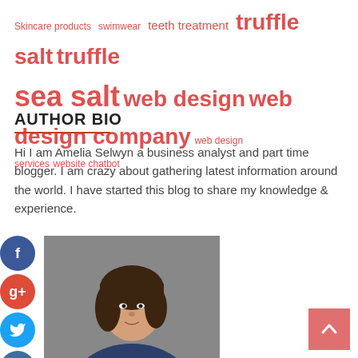Skincare products  swimwear  teeth treatment  truffle salt  truffle sea salt  web design  web design company  web design services  website chatbot
AUTHOR BIO
Hi I am Amelia Selwyn a business analyst and part time blogger. I am crazy about gathering latest information around the world. I have started this blog to share my knowledge & experience.
[Figure (photo): Headshot photo of a young woman with shoulder-length dark hair wearing a navy blazer, against a grey background]
[Figure (infographic): Social sharing buttons: Facebook (blue circle with f), Google+ (red circle with g+), Twitter (blue circle with bird), Add/More (dark blue circle with +)]
[Figure (other): Scroll-to-top button: salmon/pink square with upward arrow]